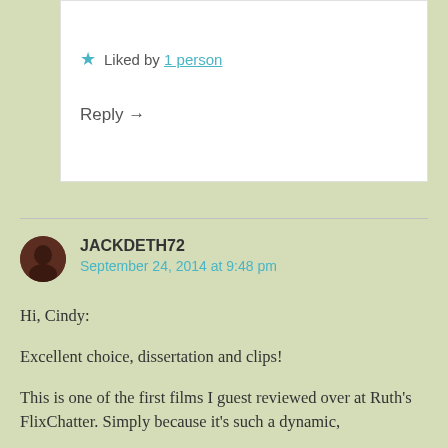★ Liked by 1 person
Reply →
JACKDETH72
September 24, 2014 at 9:48 pm
Hi, Cindy:
Excellent choice, dissertation and clips!
This is one of the first films I guest reviewed over at Ruth's FlixChatter. Simply because it's such a dynamic,